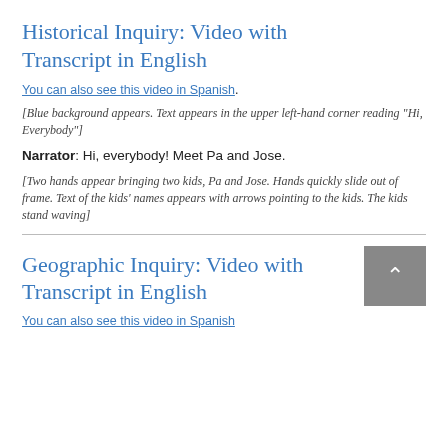Historical Inquiry: Video with Transcript in English
You can also see this video in Spanish.
[Blue background appears. Text appears in the upper left-hand corner reading “Hi, Everybody”]
Narrator: Hi, everybody! Meet Pa and Jose.
[Two hands appear bringing two kids, Pa and Jose. Hands quickly slide out of frame. Text of the kids’ names appears with arrows pointing to the kids. The kids stand waving]
Geographic Inquiry: Video with Transcript in English
You can also see this video in Spanish